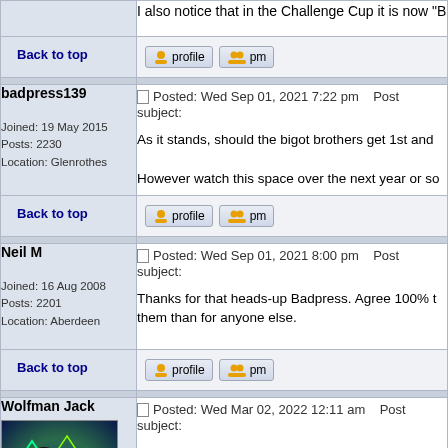I also notice that in the Challenge Cup it is now "B
Back to top
badpress139
Joined: 19 May 2015
Posts: 2230
Location: Glenrothes
Posted: Wed Sep 01, 2021 7:22 pm   Post subject:
As it stands, should the bigot brothers get 1st and
However watch this space over the next year or so
Back to top
Neil M
Joined: 16 Aug 2008
Posts: 2201
Location: Aberdeen
Posted: Wed Sep 01, 2021 8:00 pm   Post subject:
Thanks for that heads-up Badpress. Agree 100% t them than for anyone else.
Back to top
Wolfman Jack
Posted: Wed Mar 02, 2022 12:11 am   Post subject:
[Figure (photo): Avatar image with colorful artistic illustration]
Bonnyrigg Rose this seasons Lowland League Ch
https://twitter.com/BonnyriggRose/status/1498772
Hope he's got plenty Rovers action to comment on